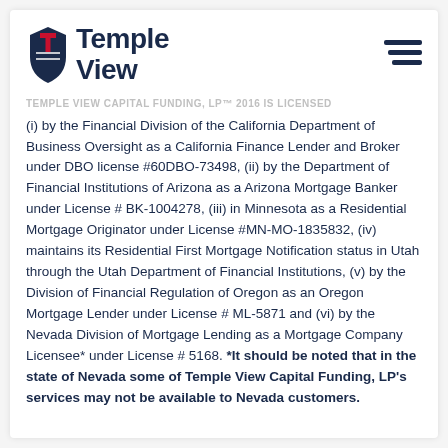[Figure (logo): Temple View Capital Funding logo with shield icon in dark navy and red, with text 'Temple View View' in bold navy, and a hamburger menu icon on the right]
TEMPLE VIEW CAPITAL FUNDING, LP™ 2016 is licensed (i) by the Financial Division of the California Department of Business Oversight as a California Finance Lender and Broker under DBO license #60DBO-73498, (ii) by the Department of Financial Institutions of Arizona as a Arizona Mortgage Banker under License # BK-1004278, (iii) in Minnesota as a Residential Mortgage Originator under License #MN-MO-1835832, (iv) maintains its Residential First Mortgage Notification status in Utah through the Utah Department of Financial Institutions, (v) by the Division of Financial Regulation of Oregon as an Oregon Mortgage Lender under License # ML-5871 and (vi) by the Nevada Division of Mortgage Lending as a Mortgage Company Licensee* under License # 5168. *It should be noted that in the state of Nevada some of Temple View Capital Funding, LP's services may not be available to Nevada customers.